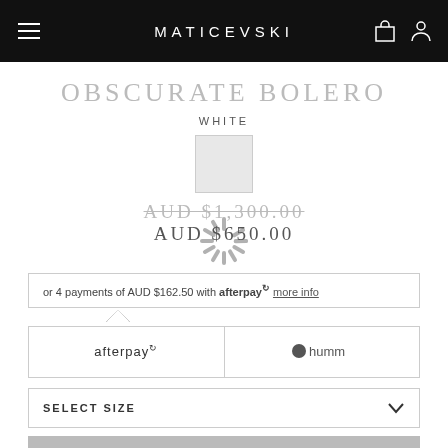MATICEVSKI
OBSCURATE BOLERO
WHITE
[Figure (other): White color swatch square]
[Figure (other): Loading spinner icon overlay on price area]
AUD $1,300.00 (strikethrough) AUD $650.00
or 4 payments of AUD $162.50 with afterpay more info
[Figure (other): Afterpay and Humm payment method tabs]
SELECT SIZE
ADD TO BAG